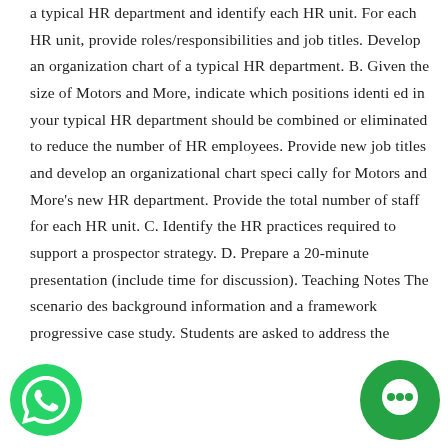a typical HR department and identify each HR unit. For each HR unit, provide roles/responsibilities and job titles. Develop an organization chart of a typical HR department. B. Given the size of Motors and More, indicate which positions identi ed in your typical HR department should be combined or eliminated to reduce the number of HR employees. Provide new job titles and develop an organizational chart speci cally for Motors and More's new HR department. Provide the total number of staff for each HR unit. C. Identify the HR practices required to support a prospector strategy. D. Prepare a 20-minute presentation (include time for discussion). Teaching Notes The scenario des background information and a framework progressive case study. Students are asked to address the
[Figure (logo): WhatsApp logo icon — green circle with white phone handset]
[Figure (other): Green chat bubble icon with white chat symbol]